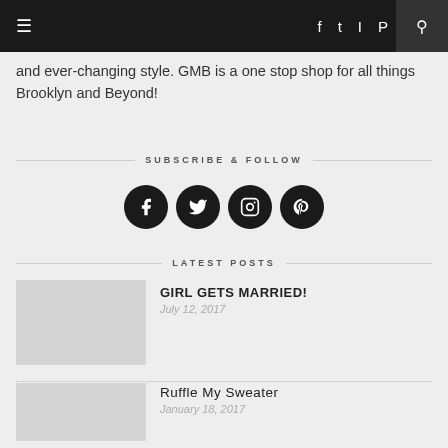≡  f  🐦  📷  𝗣  🔍
and ever-changing style. GMB is a one stop shop for all things Brooklyn and Beyond!
SUBSCRIBE & FOLLOW
[Figure (infographic): Four circular social media icons: Facebook, Twitter, Instagram, Pinterest]
LATEST POSTS
GIRL GETS MARRIED!
July 12, 2017
Ruffle My Sweater
January 18, 2017